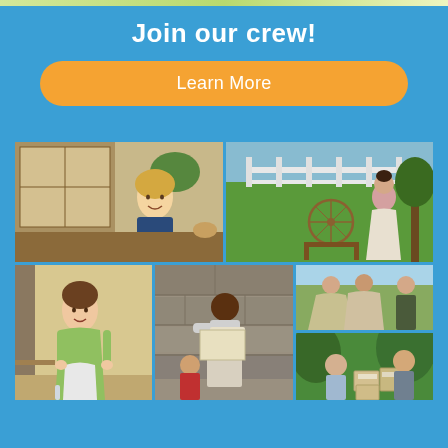Join our crew!
Learn More
[Figure (photo): Collage of 5 photos showing staff and volunteers: a smiling blonde woman in an office setting, a woman in historical costume at a spinning wheel outdoors, a woman in period green dress in a classroom, a person in a stone room holding papers, people in 19th century dresses interacting outdoors, and two people outdoors with packages.]